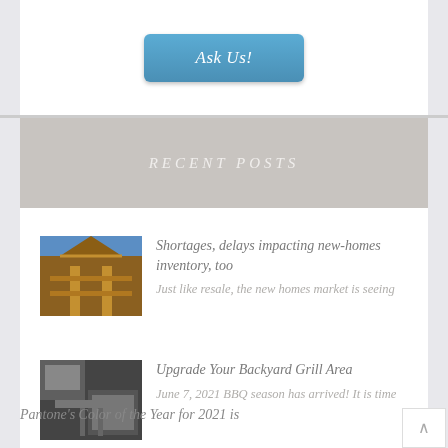[Figure (other): Blue button labeled 'Ask Us!']
RECENT POSTS
[Figure (photo): Thumbnail of house construction framing]
Shortages, delays impacting new-homes inventory, too
Just like resale, the new homes market is seeing
[Figure (photo): Thumbnail of backyard grill area]
Upgrade Your Backyard Grill Area
June 7, 2021 BBQ season has arrived! It is time
Pantone's Color of the Year for 2021 is